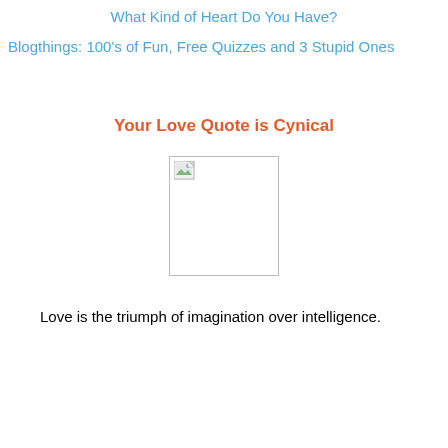What Kind of Heart Do You Have?
Blogthings: 100's of Fun, Free Quizzes and 3 Stupid Ones
Your Love Quote is Cynical
[Figure (other): Broken image placeholder with small image icon in top-left corner, bordered box]
Love is the triumph of imagination over intelligence.